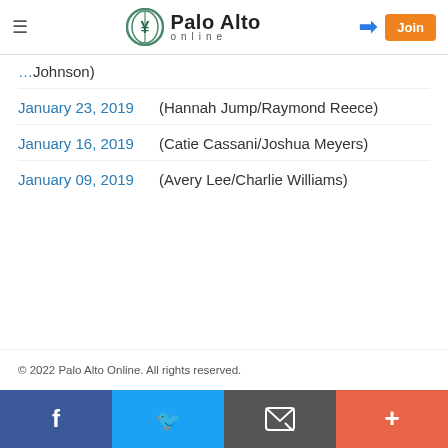Palo Alto Online
Johnson)
January 23, 2019   (Hannah Jump/Raymond Reece)
January 16, 2019   (Catie Cassani/Joshua Meyers)
January 09, 2019   (Avery Lee/Charlie Williams)
© 2022 Palo Alto Online. All rights reserved.